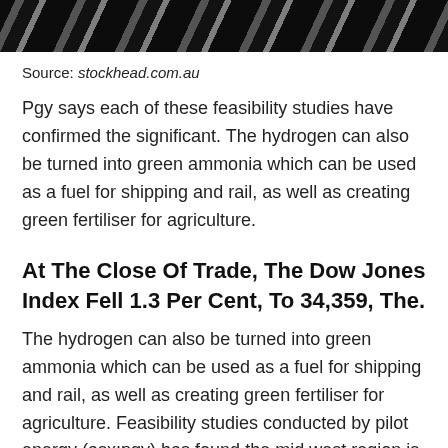[Figure (photo): Black and white photo strip at the top of the page showing partial image of a person, with diagonal lighting/shadow patterns.]
Source: stockhead.com.au
Pgy says each of these feasibility studies have confirmed the significant. The hydrogen can also be turned into green ammonia which can be used as a fuel for shipping and rail, as well as creating green fertiliser for agriculture.
At The Close Of Trade, The Dow Jones Index Fell 1.3 Per Cent, To 34,359, The.
The hydrogen can also be turned into green ammonia which can be used as a fuel for shipping and rail, as well as creating green fertiliser for agriculture. Feasibility studies conducted by pilot energy (asx:pgy) has found the mid west region is well placed to develop clean energy on a globally competitive basis by maximising existing connections to